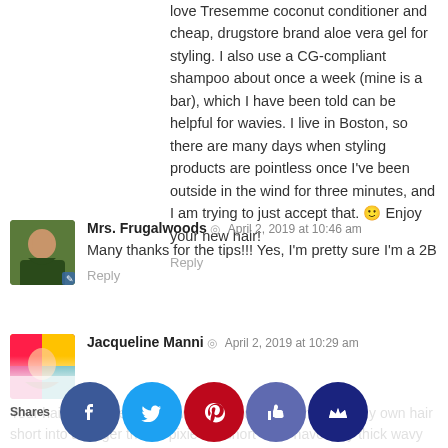love Tresemme coconut conditioner and cheap, drugstore brand aloe vera gel for styling. I also use a CG-compliant shampoo about once a week (mine is a bar), which I have been told can be helpful for wavies. I live in Boston, so there are many days when styling products are pointless once I've been outside in the wind for three minutes, and I am trying to just accept that. 🙂 Enjoy your new hair!
Reply
Mrs. Frugalwoods ◎ April 2, 2019 at 10:46 am
Many thanks for the tips!!! Yes, I'm pretty sure I'm a 2B
Reply
Jacqueline Manni ◎ April 2, 2019 at 10:29 am
Your hair looks great! I just wanted to chime in that I cut my own hair short into a longer than a pixie but short 'do. I have very thick wavy hair too. Ok, it's frizzy — but not when it's short! Happiness! What I do is slide my fingers to my scalp, and then raise them to about how long I want the hair to be (in the f... ybe th... es, in t... and fo... les, ri... th... rs, may... s of an h... d cut a... gle. I st...
Shares